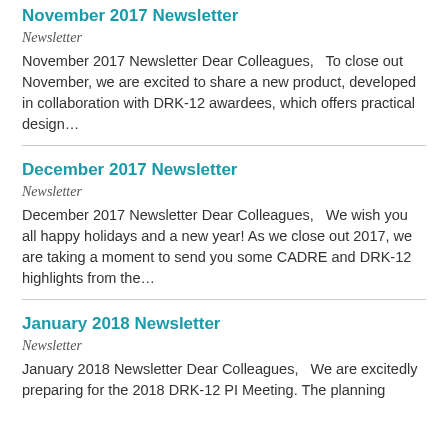November 2017 Newsletter
Newsletter
November 2017 Newsletter Dear Colleagues,   To close out November, we are excited to share a new product, developed in collaboration with DRK-12 awardees, which offers practical design…
December 2017 Newsletter
Newsletter
December 2017 Newsletter Dear Colleagues,   We wish you all happy holidays and a new year! As we close out 2017, we are taking a moment to send you some CADRE and DRK-12 highlights from the…
January 2018 Newsletter
Newsletter
January 2018 Newsletter Dear Colleagues,   We are excitedly preparing for the 2018 DRK-12 PI Meeting. The planning